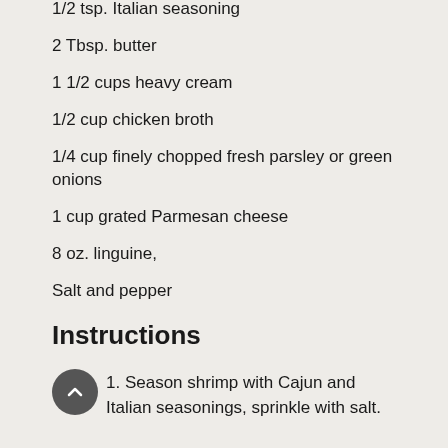1/2 tsp. Italian seasoning
2 Tbsp. butter
1 1/2 cups heavy cream
1/2 cup chicken broth
1/4 cup finely chopped fresh parsley or green onions
1 cup grated Parmesan cheese
8 oz. linguine,
Salt and pepper
Instructions
1. Season shrimp with Cajun and Italian seasonings, sprinkle with salt.